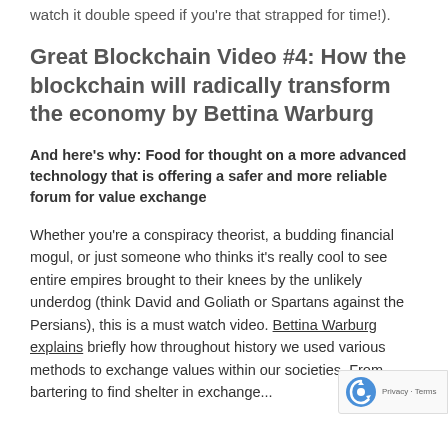watch it double speed if you're that strapped for time!).
Great Blockchain Video #4: How the blockchain will radically transform the economy by Bettina Warburg
And here's why: Food for thought on a more advanced technology that is offering a safer and more reliable forum for value exchange
Whether you're a conspiracy theorist, a budding financial mogul, or just someone who thinks it's really cool to see entire empires brought to their knees by the unlikely underdog (think David and Goliath or Spartans against the Persians), this is a must watch video. Bettina Warburg explains briefly how throughout history we used various methods to exchange values within our societies. From bartering to find shelter in exchange...